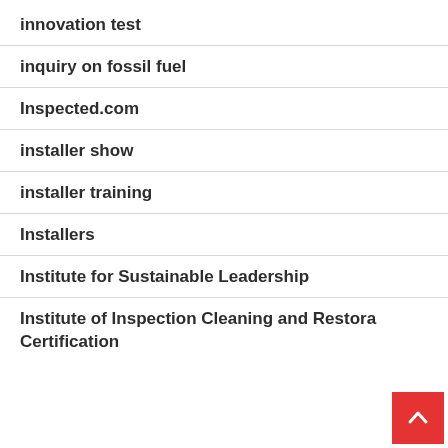innovation test
inquiry on fossil fuel
Inspected.com
installer show
installer training
Installers
Institute for Sustainable Leadership
Institute of Inspection Cleaning and Restoration Certification